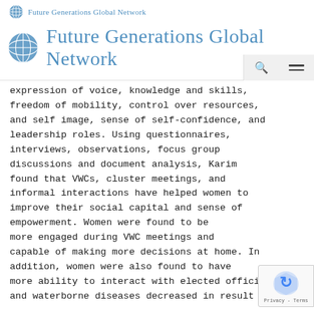Future Generations Global Network
expression of voice, knowledge and skills, freedom of mobility, control over resources, and self image, sense of self-confidence, and leadership roles. Using questionnaires, interviews, observations, focus group discussions and document analysis, Karim found that VWCs, cluster meetings, and informal interactions have helped women to improve their social capital and sense of empowerment. Women were found to be more engaged during VWC meetings and capable of making more decisions at home. In addition, women were also found to have more ability to interact with elected officials and waterborne diseases decreased in result to VWCs. Overall, Karim concluded that...